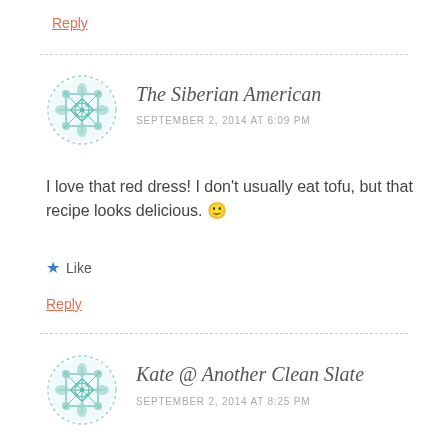Reply
[Figure (illustration): Circular avatar with teal/mint geometric mandala-like pattern on white background, dashed circle border]
The Siberian American
SEPTEMBER 2, 2014 AT 6:09 PM
I love that red dress! I don't usually eat tofu, but that recipe looks delicious. 🙂
★ Like
Reply
[Figure (illustration): Circular avatar with teal/mint geometric mandala-like pattern on white background, dashed circle border]
Kate @ Another Clean Slate
SEPTEMBER 2, 2014 AT 8:25 PM